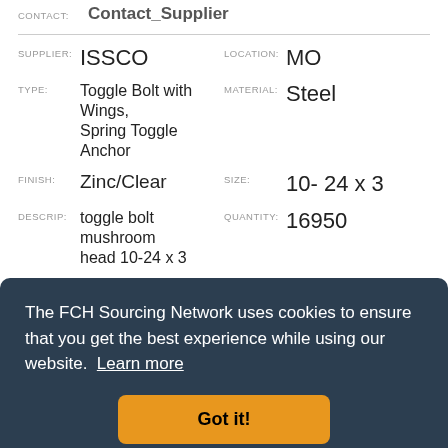CONTACT: Contact_Supplier
SUPPLIER: ISSCO    LOCATION: MO
TYPE: Toggle Bolt with Wings, Spring Toggle Anchor    MATERIAL: Steel
FINISH: Zinc/Clear    SIZE: 10- 24 x 3
DESCRIP: toggle bolt mushroom head 10-24 x 3    QUANTITY: 16950
CONTACT: Contact_Supplier
The FCH Sourcing Network uses cookies to ensure that you get the best experience while using our website. Learn more
Got it!
CONTACT: Contact_Supplier